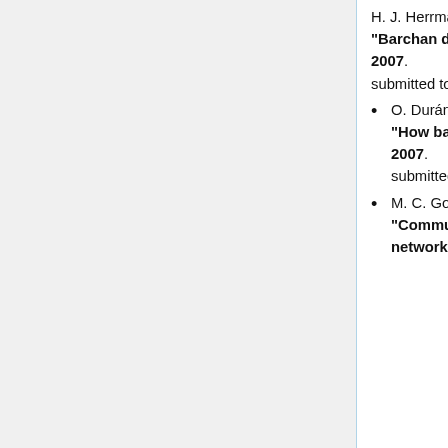H. J. Herrmann. "Barchan dune's size distribution induced by collisions". 2007. submitted to Geophys. Res. Lett.; e-print: cond-mat/0701370
O. Durán and V. Schwämmle and P. G. Lind and H. J. Herrmann. "How barchan dunes distribute over desert". 2007. submitted to PRL; e-print: cond-mat/0701367
M. C. Gonzaléz and H. J. Herrmann and J. Kertész and T. Vicsek. "Community structure and ethnic preferences in school friendship networks".